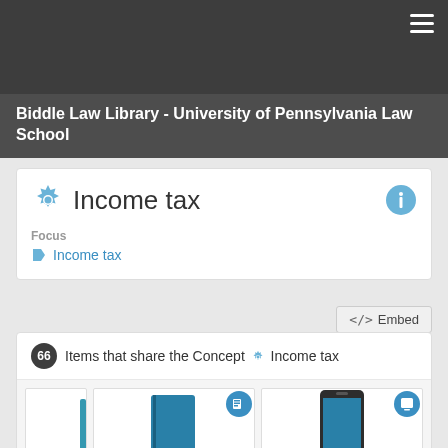Biddle Law Library - University of Pennsylvania Law School
Income tax
Focus
Income tax
</> Embed
66 Items that share the Concept ⚙ Income tax